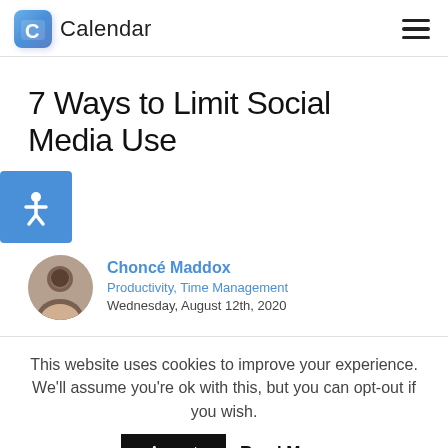Calendar
7 Ways to Limit Social Media Use
Choncé Maddox
Productivity, Time Management
Wednesday, August 12th, 2020
This website uses cookies to improve your experience. We'll assume you're ok with this, but you can opt-out if you wish.
Accept   Read More